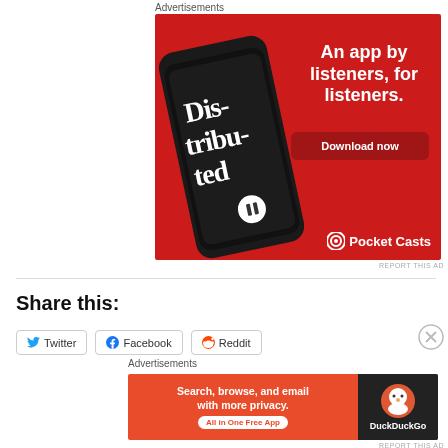Advertisements
[Figure (screenshot): Pocket Casts app advertisement on red background showing a smartphone with 'Distributed' podcast app open. Text reads: 'An app by listeners, for listeners.' with a 'Download now' button and Pocket Casts logo.]
REPORT THIS AD
Share this:
[Figure (screenshot): Share buttons row showing Twitter, Facebook, and Reddit buttons with icons.]
Advertisements
[Figure (screenshot): DuckDuckGo advertisement banner. Text reads: 'Search, browse, and email with more privacy. All in One Free App' with DuckDuckGo logo on dark right panel.]
REPORT THIS AD